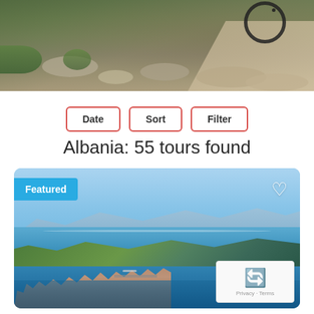[Figure (photo): Mountain biking trail with rocky terrain and gravel path, partial view of bicycle wheel at top right]
Date
Sort
Filter
Albania: 55 tours found
[Figure (photo): Aerial coastal view of Albanian town with harbor, deep blue bay, green hills, and mountains in background. Featured badge in top-left, heart/favorite icon in top-right. reCAPTCHA badge in bottom-right.]